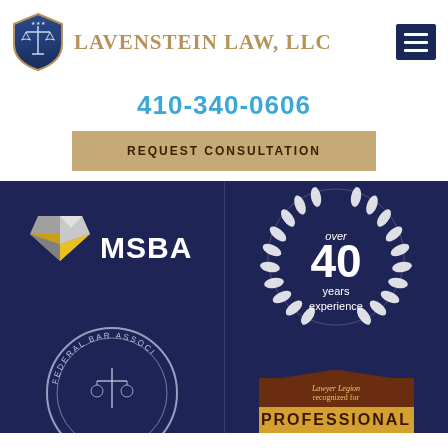[Figure (logo): Lavenstein Law LLC logo with shield and scales of justice icon, with text LAVENSTEIN LAW, LLC in gold, and hamburger menu icon]
410-340-0606
REQUEST CONSULTATION
[Figure (infographic): Dark navy background section with MSBA logo (geometric diamond shape with yellow and gray), text MSBA, circular badge with laurel wreath reading 'over 40 years experience', partial Federal Bar Association seal at bottom left, and Lawyer Legion 'recognized for PROFESSIONAL' badge at bottom right]